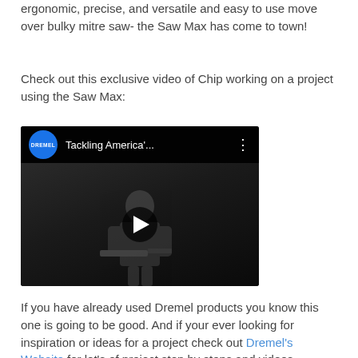ergonomic, precise, and versatile and easy to use move over bulky mitre saw- the Saw Max has come to town!
Check out this exclusive video of Chip working on a project using the Saw Max:
[Figure (screenshot): Embedded YouTube video thumbnail showing a person in a dark workshop. The video is from the DREMEL channel and is titled 'Tackling America'... with a play button in the center.]
If you have already used Dremel products you know this one is going to be good. And if your ever looking for inspiration or ideas for a project check out Dremel's Website for lot's of project step by steps and videos. They're even